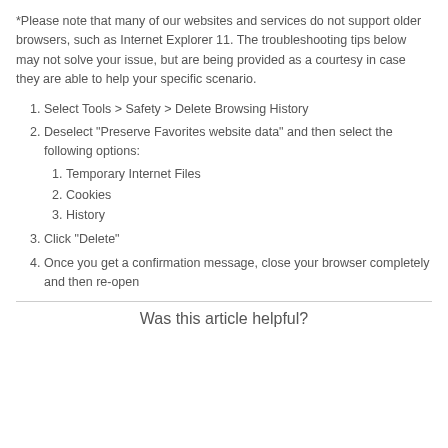*Please note that many of our websites and services do not support older browsers, such as Internet Explorer 11. The troubleshooting tips below may not solve your issue, but are being provided as a courtesy in case they are able to help your specific scenario.
1. Select Tools > Safety > Delete Browsing History
2. Deselect "Preserve Favorites website data" and then select the following options: 1. Temporary Internet Files 2. Cookies 3. History
3. Click "Delete"
4. Once you get a confirmation message, close your browser completely and then re-open
Was this article helpful?